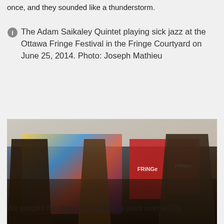once, and they sounded like a thunderstorm.
The Adam Saikaley Quintet playing sick jazz at the Ottawa Fringe Festival in the Fringe Courtyard on June 25, 2014. Photo: Joseph Mathieu
[Figure (photo): The Adam Saikaley Quintet performing jazz under a tent at the Ottawa Fringe Festival. Musicians including a saxophonist in the foreground and guitarist on the right are visible, with colorful Fringe Festival banners in the background.]
We jumped the fence and walked a jaunt over to City